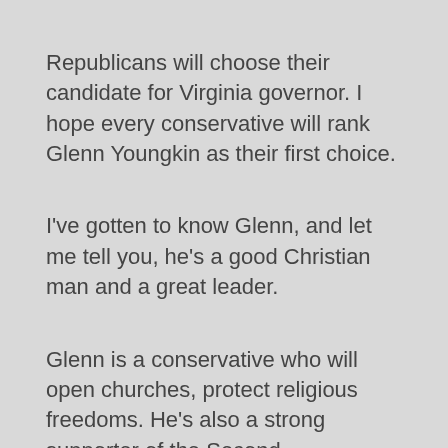Republicans will choose their candidate for Virginia governor. I hope every conservative will rank Glenn Youngkin as their first choice.
I've gotten to know Glenn, and let me tell you, he's a good Christian man and a great leader.
Glenn is a conservative who will open churches, protect religious freedoms. He's also a strong supporter of the Second Amendment.